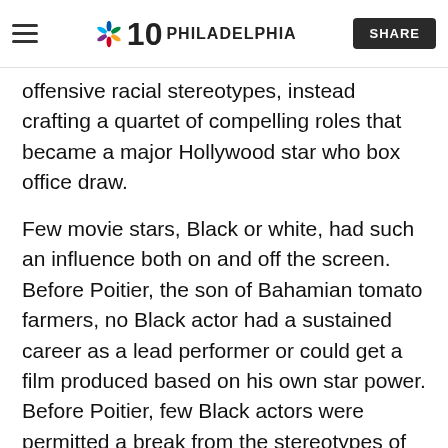NBC10 PHILADELPHIA | SHARE
offensive racial stereotypes, instead crafting a quartet of compelling roles that became a major Hollywood star who box office draw.
Few movie stars, Black or white, had such an influence both on and off the screen. Before Poitier, the son of Bahamian tomato farmers, no Black actor had a sustained career as a lead performer or could get a film produced based on his own star power. Before Poitier, few Black actors were permitted a break from the stereotypes of bug-eyed servants and grinning entertainers. Before Poitier, Hollywood filmmakers rarely even attempted to tell a Black person's story.
Debates about diversity in Hollywood inevitably turn to the story of Poitier. With his handsome, flawless face; intense stare and disciplined style, he was for years not just the most